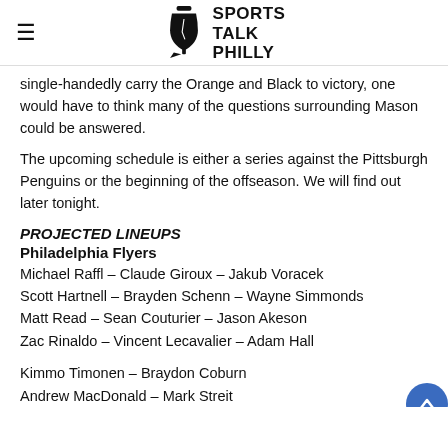Sports Talk Philly
single-handedly carry the Orange and Black to victory, one would have to think many of the questions surrounding Mason could be answered.
The upcoming schedule is either a series against the Pittsburgh Penguins or the beginning of the offseason. We will find out later tonight.
PROJECTED LINEUPS
Philadelphia Flyers
Michael Raffl – Claude Giroux – Jakub Voracek
Scott Hartnell – Brayden Schenn – Wayne Simmonds
Matt Read – Sean Couturier – Jason Akeson
Zac Rinaldo – Vincent Lecavalier – Adam Hall
Kimmo Timonen – Braydon Coburn
Andrew MacDonald – Mark Streit